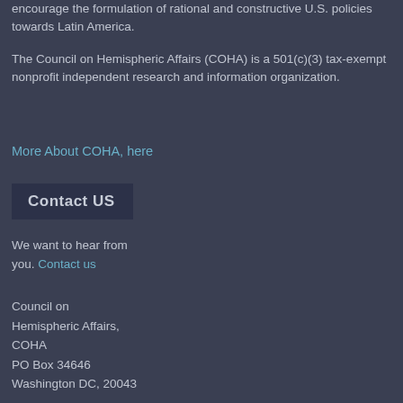encourage the formulation of rational and constructive U.S. policies towards Latin America.
The Council on Hemispheric Affairs (COHA) is a 501(c)(3) tax-exempt nonprofit independent research and information organization.
More About COHA, here
Contact US
We want to hear from you. Contact us
Council on Hemispheric Affairs, COHA
PO Box 34646
Washington DC, 20043